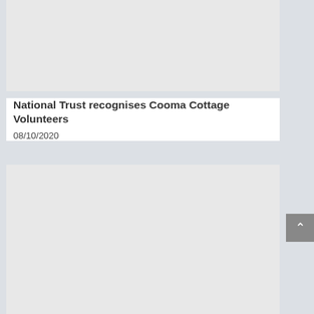[Figure (photo): Top image placeholder - light gray rectangle]
National Trust recognises Cooma Cottage Volunteers
08/10/2020
[Figure (photo): Bottom image placeholder - light gray rectangle]